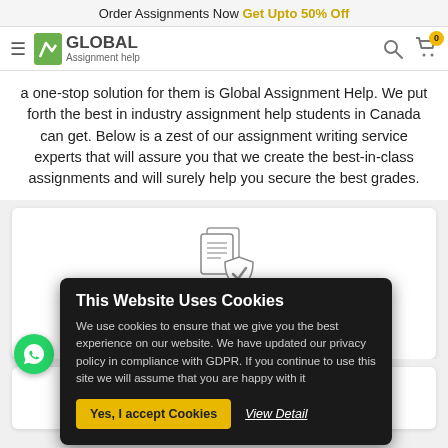Order Assignments Now Get Upto 50% Off
[Figure (logo): Global Assignment Help logo with hamburger menu, search icon, and cart icon with badge 0]
a one-stop solution for them is Global Assignment Help. We put forth the best in industry assignment help students in Canada can get. Below is a zest of our assignment writing service experts that will assure you that we create the best-in-class assignments and will surely help you secure the best grades.
[Figure (illustration): Icon of document pages with a shield and checkmark, representing qualified writers]
Qualified Writers
4500+ Ph.D. Degree holding experts.
This Website Uses Cookies
We use cookies to ensure that we give you the best experience on our website. We have updated our privacy policy in compliance with GDPR. If you continue to use this site we will assume that you are happy with it
Yes, I accept Cookies   View Detail
...without reporting any error.